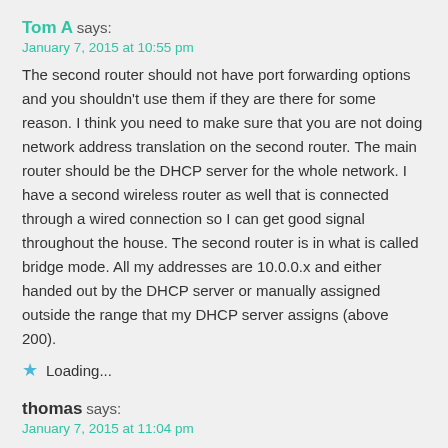Tom A says:
January 7, 2015 at 10:55 pm
The second router should not have port forwarding options and you shouldn't use them if they are there for some reason. I think you need to make sure that you are not doing network address translation on the second router. The main router should be the DHCP server for the whole network. I have a second wireless router as well that is connected through a wired connection so I can get good signal throughout the house. The second router is in what is called bridge mode. All my addresses are 10.0.0.x and either handed out by the DHCP server or manually assigned outside the range that my DHCP server assigns (above 200).
★ Loading...
thomas says:
January 7, 2015 at 11:04 pm
Yeah my second router is also in bridge mode but it is connected to my